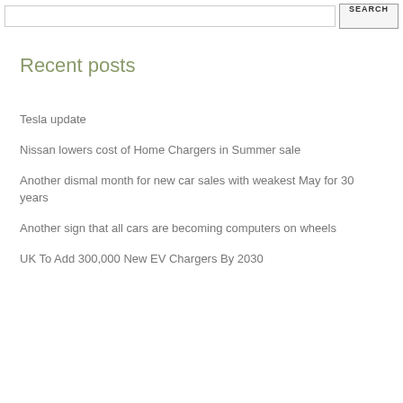SEARCH
Recent posts
Tesla update
Nissan lowers cost of Home Chargers in Summer sale
Another dismal month for new car sales with weakest May for 30 years
Another sign that all cars are becoming computers on wheels
UK To Add 300,000 New EV Chargers By 2030